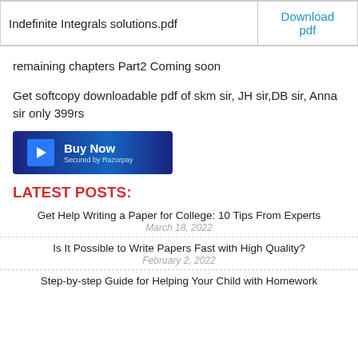|  |  |
| --- | --- |
| Indefinite Integrals solutions.pdf | Download pdf |
remaining chapters Part2 Coming soon
Get softcopy downloadable pdf of skm sir, JH sir,DB sir, Anna sir only 399rs
[Figure (other): Buy Now button secured by Razorpay]
LATEST POSTS:
Get Help Writing a Paper for College: 10 Tips From Experts
March 18, 2022
Is It Possible to Write Papers Fast with High Quality?
February 2, 2022
Step-by-step Guide for Helping Your Child with Homework